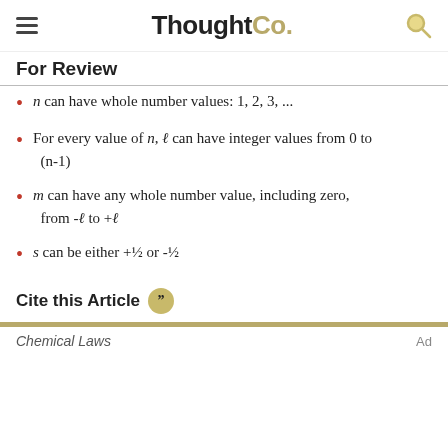ThoughtCo.
For Review
n can have whole number values: 1, 2, 3, ...
For every value of n, ℓ can have integer values from 0 to (n-1)
m can have any whole number value, including zero, from -ℓ to +ℓ
s can be either +½ or -½
Cite this Article
Chemical Laws  Ad